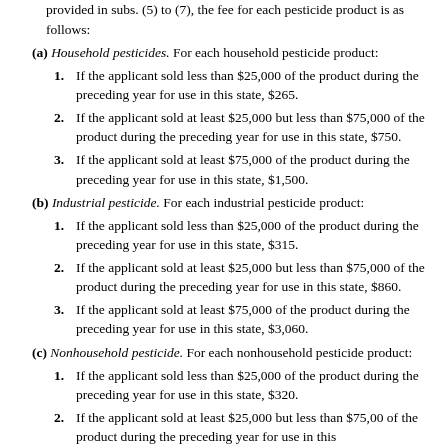provided in subs. (5) to (7), the fee for each pesticide product is as follows:
(a) Household pesticides. For each household pesticide product:
1. If the applicant sold less than $25,000 of the product during the preceding year for use in this state, $265.
2. If the applicant sold at least $25,000 but less than $75,000 of the product during the preceding year for use in this state, $750.
3. If the applicant sold at least $75,000 of the product during the preceding year for use in this state, $1,500.
(b) Industrial pesticide. For each industrial pesticide product:
1. If the applicant sold less than $25,000 of the product during the preceding year for use in this state, $315.
2. If the applicant sold at least $25,000 but less than $75,000 of the product during the preceding year for use in this state, $860.
3. If the applicant sold at least $75,000 of the product during the preceding year for use in this state, $3,060.
(c) Nonhousehold pesticide. For each nonhousehold pesticide product:
1. If the applicant sold less than $25,000 of the product during the preceding year for use in this state, $320.
2. If the applicant sold at least $25,000 but less than $75,000 of the product during the preceding year for use in this